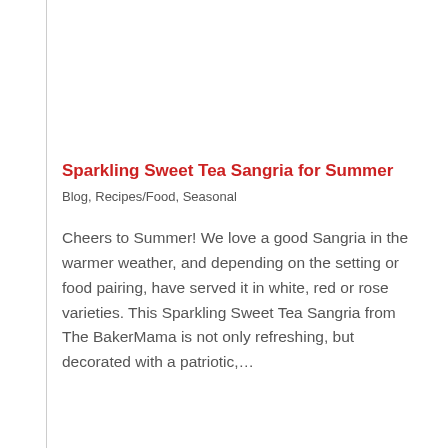Sparkling Sweet Tea Sangria for Summer
Blog, Recipes/Food, Seasonal
Cheers to Summer! We love a good Sangria in the warmer weather, and depending on the setting or food pairing, have served it in white, red or rose varieties. This Sparkling Sweet Tea Sangria from The BakerMama is not only refreshing, but decorated with a patriotic,…